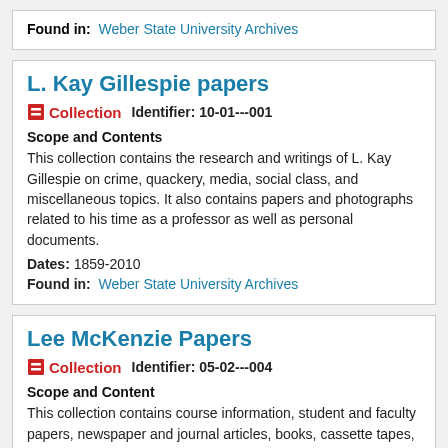Found in: Weber State University Archives
L. Kay Gillespie papers
Collection   Identifier: 10-01---001
Scope and Contents
This collection contains the research and writings of L. Kay Gillespie on crime, quackery, media, social class, and miscellaneous topics. It also contains papers and photographs related to his time as a professor as well as personal documents.
Dates: 1859-2010
Found in: Weber State University Archives
Lee McKenzie Papers
Collection   Identifier: 05-02---004
Scope and Content
This collection contains course information, student and faculty papers, newspaper and journal articles, books, cassette tapes, department notices, and